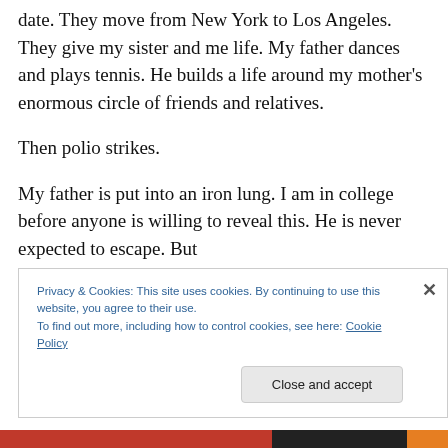date. They move from New York to Los Angeles. They give my sister and me life. My father dances and plays tennis. He builds a life around my mother's enormous circle of friends and relatives.
Then polio strikes.
My father is put into an iron lung. I am in college before anyone is willing to reveal this. He is never expected to escape. But
Privacy & Cookies: This site uses cookies. By continuing to use this website, you agree to their use.
To find out more, including how to control cookies, see here: Cookie Policy